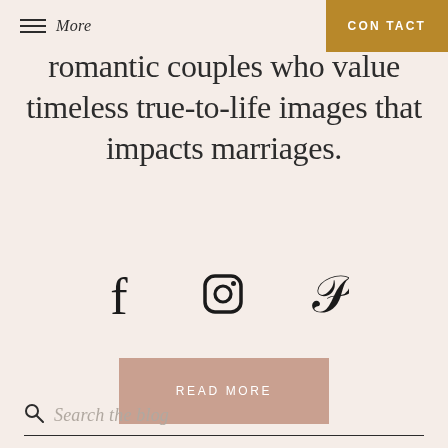More | CONTACT
romantic couples who value timeless true-to-life images that impacts marriages.
[Figure (infographic): Three social media icons: Facebook (f), Instagram (camera), Pinterest (P)]
READ MORE
Search the blog